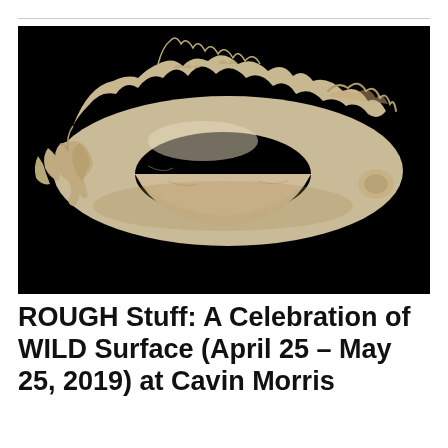[Figure (photo): A photograph of an animal skull or bone fragment (possibly a cetacean or large mammal jaw/skull section) displayed against a pure black background. The bone is cream/beige colored with rough, textured surfaces, a large oval hole in the center, and jagged edges. Teeth or tooth sockets are visible on the left side.]
ROUGH Stuff: A Celebration of WILD Surface (April 25 – May 25, 2019) at Cavin Morris Gallery, New York